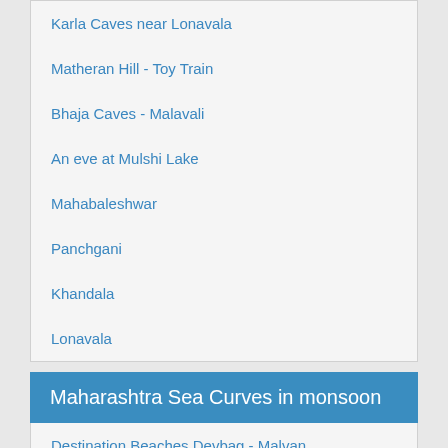Karla Caves near Lonavala
Matheran Hill - Toy Train
Bhaja Caves - Malavali
An eve at Mulshi Lake
Mahabaleshwar
Panchgani
Khandala
Lonavala
Maharashtra Sea Curves in monsoon
Destination Beaches Devbag - Malvan
Velneshwar Temple and Beach
ADLABS Imagica Theme Park
Karneshwar - Sangameshwar
Danoli - Romantic Beaches